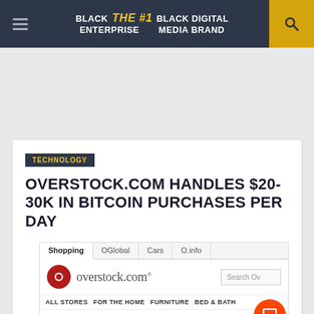BLACK ENTERPRISE THE #1 BLACK DIGITAL MEDIA BRAND
TECHNOLOGY
OVERSTOCK.COM HANDLES $20-30K IN BITCOIN PURCHASES PER DAY
[Figure (screenshot): Screenshot of Overstock.com website showing tabs (Shopping, OGlobal, Cars, O.info), the Overstock.com logo and search bar, navigation items (ALL STORES, FOR THE HOME, FURNITURE, BED & BATH), and the heading 'Bitcoin on Overstock.']